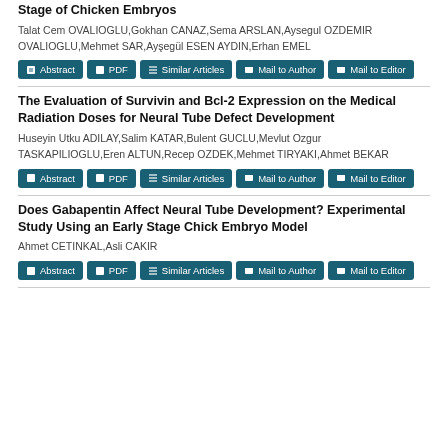Stage of Chicken Embryos
Talat Cem OVALIOGLU,Gokhan CANAZ,Sema ARSLAN,Aysegul OZDEMIR OVALIOGLU,Mehmet SAR,Ayşegül ESEN AYDIN,Erhan EMEL
The Evaluation of Survivin and Bcl-2 Expression on the Medical Radiation Doses for Neural Tube Defect Development
Huseyin Utku ADILAY,Salim KATAR,Bulent GUCLU,Mevlut Ozgur TASKAPILIOGLU,Eren ALTUN,Recep OZDEK,Mehmet TIRYAKI,Ahmet BEKAR
Does Gabapentin Affect Neural Tube Development? Experimental Study Using an Early Stage Chick Embryo Model
Ahmet CETINKAL,Asli CAKIR